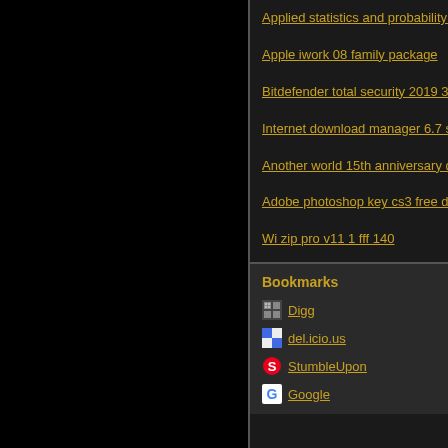Applied statistics and probability fo
Apple iwork 08 family package
Bitdefender total security 2019 3 p
Internet download manager 6.7 se
Another world 15th anniversary do
Adobe photoshop key cs3 free dow
Wi zip pro v11 1 fff 140
Bookmarks
Digg
del.icio.us
StumbleUpon
Google